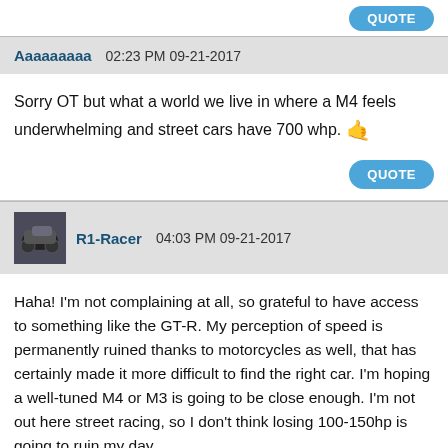QUOTE
Aaaaaaaaa 02:23 PM 09-21-2017
Sorry OT but what a world we live in where a M4 feels underwhelming and street cars have 700 whp. 🤙
QUOTE
R1-Racer 04:03 PM 09-21-2017
Haha! I'm not complaining at all, so grateful to have access to something like the GT-R. My perception of speed is permanently ruined thanks to motorcycles as well, that has certainly made it more difficult to find the right car. I'm hoping a well-tuned M4 or M3 is going to be close enough. I'm not out here street racing, so I don't think losing 100-150hp is going to ruin my day.